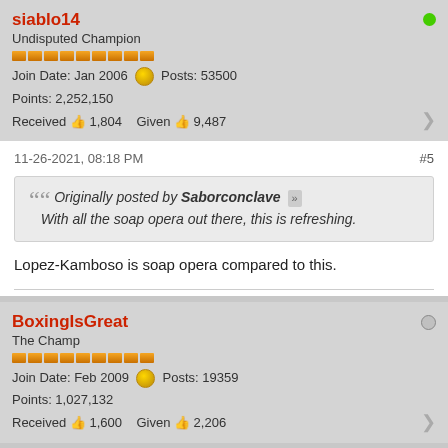siablo14 — Undisputed Champion
Join Date: Jan 2006  Posts: 53500
Points: 2,252,150
Received 1,804  Given 9,487
11-26-2021, 08:18 PM  #5
Originally posted by Saborconclave
With all the soap opera out there, this is refreshing.
Lopez-Kamboso is soap opera compared to this.
BoxingIsGreat — The Champ
Join Date: Feb 2009  Posts: 19359
Points: 1,027,132
Received 1,600  Given 2,206